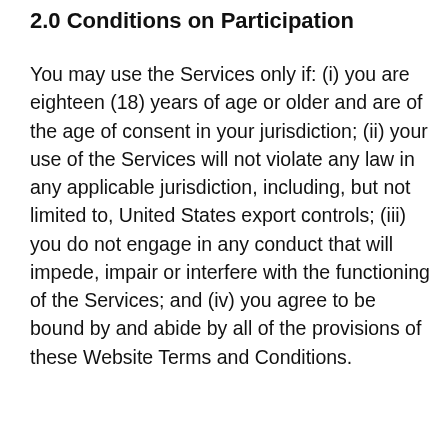2.0 Conditions on Participation
You may use the Services only if: (i) you are eighteen (18) years of age or older and are of the age of consent in your jurisdiction; (ii) your use of the Services will not violate any law in any applicable jurisdiction, including, but not limited to, United States export controls; (iii) you do not engage in any conduct that will impede, impair or interfere with the functioning of the Services; and (iv) you agree to be bound by and abide by all of the provisions of these Website Terms and Conditions.